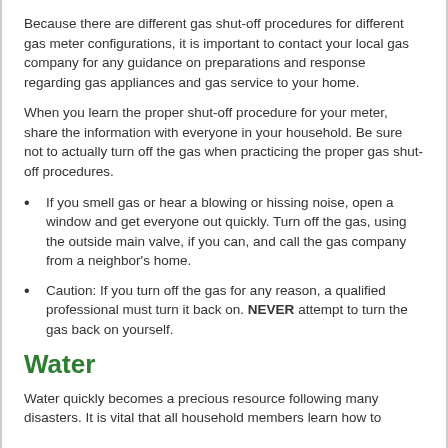Because there are different gas shut-off procedures for different gas meter configurations, it is important to contact your local gas company for any guidance on preparations and response regarding gas appliances and gas service to your home.
When you learn the proper shut-off procedure for your meter, share the information with everyone in your household. Be sure not to actually turn off the gas when practicing the proper gas shut-off procedures.
If you smell gas or hear a blowing or hissing noise, open a window and get everyone out quickly. Turn off the gas, using the outside main valve, if you can, and call the gas company from a neighbor's home.
Caution: If you turn off the gas for any reason, a qualified professional must turn it back on. NEVER attempt to turn the gas back on yourself.
Water
Water quickly becomes a precious resource following many disasters. It is vital that all household members learn how to